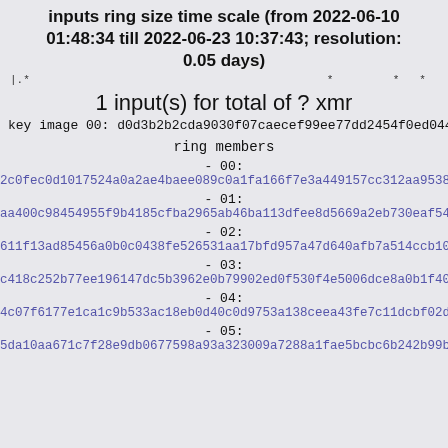inputs ring size time scale (from 2022-06-10 01:48:34 till 2022-06-23 10:37:43; resolution: 0.05 days)
|.*                                          *         *___*____*.
1 input(s) for total of ? xmr
key image 00: d0d3b2b2cda9030f07caecef99ee77dd2454f0ed044bb81
ring members
- 00:
2c0fec0d1017524a0a2ae4baee089c0a1fa166f7e3a449157cc312aa9538
- 01:
aa400c98454955f9b4185cfba2965ab46ba113dfee8d5669a2eb730eaf54
- 02:
611f13ad85456a0b0c0438fe526531aa17bfd957a47d640afb7a514ccb10
- 03:
c418c252b77ee196147dc5b3962e0b79902ed0f530f4e5006dce8a0b1f40
- 04:
4c07f6177e1ca1c9b533ac18eb0d40c0d9753a138ceea43fe7c11dcbf02d
- 05:
5da10aa671c7f28e9db0677598a93a323009a7288a1fae5bcbc6b242b99b